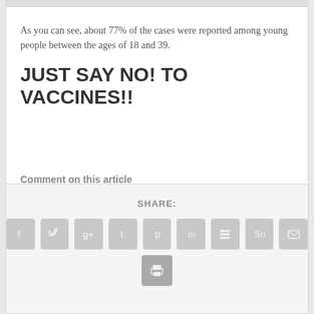As you can see, about 77% of the cases were reported among young people between the ages of 18 and 39.
JUST SAY NO! TO VACCINES!!
Comment on this article at HealthImpactNews.com.
SHARE:
[Figure (infographic): A row of social media sharing icon buttons (Facebook, Twitter, Google+, Tumblr, Pinterest, LinkedIn, Buffer, StumbleUpon, Email) followed by a print icon, all displayed as gray rounded square buttons.]